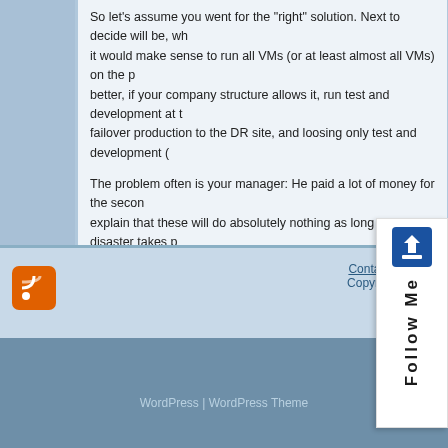So let's assume you went for the "right" solution. Next to decide will be, whether it would make sense to run all VMs (or at least almost all VMs) on the primary, better, if your company structure allows it, run test and development at the DR site, failover production to the DR site, and loosing only test and development (
The problem often is your manager: He paid a lot of money for the second site, explain that these will do absolutely nothing as long as no disaster takes place. You run both sites at 50%, or one on 100% and the other dormant at 0%
If you use SRM, there is a clear business case: If you run at 50-50, Without SRM, it takes more explanation, but in my opinion running might use less ESX nodes on the DR site if you do not have to f cost without SRM as well).
Conclusion
–> Don't ever be tempted to quantum-entangle your VMs and
Posted in VMware | Tags: disaster recovery, DR, DRS, ESX, Site Reco... Closed
Contact Us | Ter... Copyright © 200...
WordPress | WordPress Theme